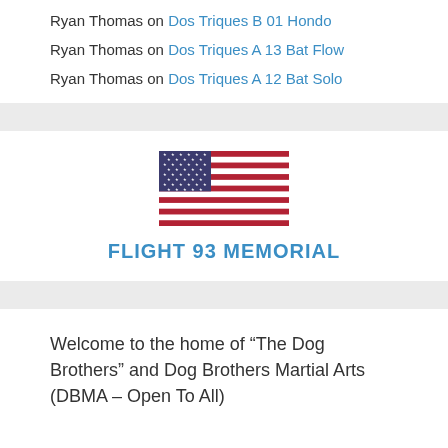Ryan Thomas on Dos Triques B 01 Hondo
Ryan Thomas on Dos Triques A 13 Bat Flow
Ryan Thomas on Dos Triques A 12 Bat Solo
[Figure (illustration): American flag illustration with stars and stripes]
FLIGHT 93 MEMORIAL
Welcome to the home of “The Dog Brothers” and Dog Brothers Martial Arts (DBMA – Open To All)